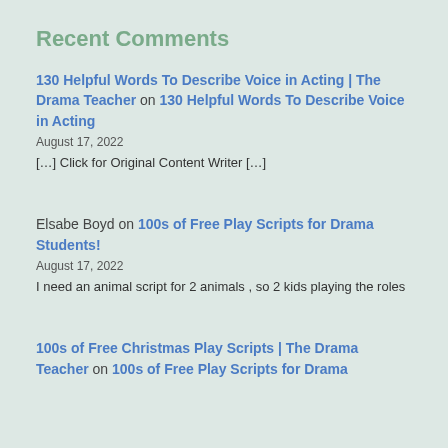Recent Comments
130 Helpful Words To Describe Voice in Acting | The Drama Teacher on 130 Helpful Words To Describe Voice in Acting
August 17, 2022
[…] Click for Original Content Writer […]
Elsabe Boyd on 100s of Free Play Scripts for Drama Students!
August 17, 2022
I need an animal script for 2 animals , so 2 kids playing the roles
100s of Free Christmas Play Scripts | The Drama Teacher on 100s of Free Play Scripts for Drama